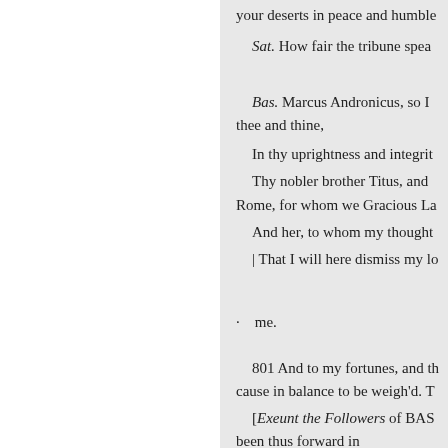your deserts in peace and humble
Sat. How fair the tribune spea
Bas. Marcus Andronicus, so I thee and thine,
In thy uprightness and integrit
Thy nobler brother Titus, and Rome, for whom we Gracious La
And her, to whom my thought
| That I will here dismiss my lo
me.
801 And to my fortunes, and th cause in balance to be weigh'd. T
[Exeunt the Followers of BAS been thus forward in
my right.